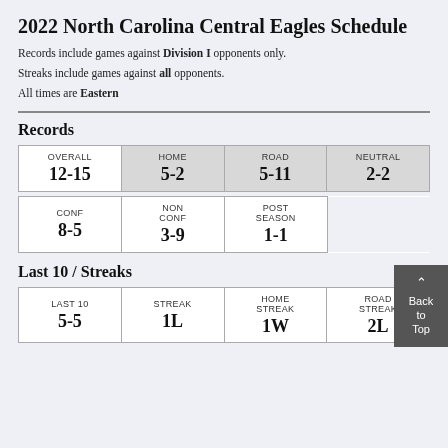2022 North Carolina Central Eagles Schedule
Records include games against Division I opponents only.
Streaks include games against all opponents.
All times are Eastern
Records
| OVERALL | HOME | ROAD | NEUTRAL |
| --- | --- | --- | --- |
| 12-15 | 5-2 | 5-11 | 2-2 |
| CONF | NON CONF | POST SEASON |
| --- | --- | --- |
| 8-5 | 3-9 | 1-1 |
Last 10 / Streaks
| LAST 10 | STREAK | HOME STREAK | ROAD STREAK |
| --- | --- | --- | --- |
| 5-5 | 1L | 1W | 2L |